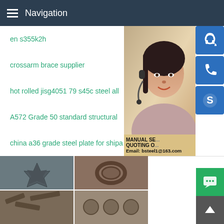Navigation
en s355k2h
crossarm brace supplier
hot rolled jisg4051 79 s45c steel all
A572 Grade 50 standard structural
china a36 grade steel plate for shipa
[Figure (photo): Customer service representative woman with headset, with icons for online chat, phone, and Skype, and text showing MANUAL SE... QUOTING O... Email: bsteel1@163.com]
[Figure (photo): Grid of four steel product photos showing steel plates, rings, coils, and structural steel pieces]